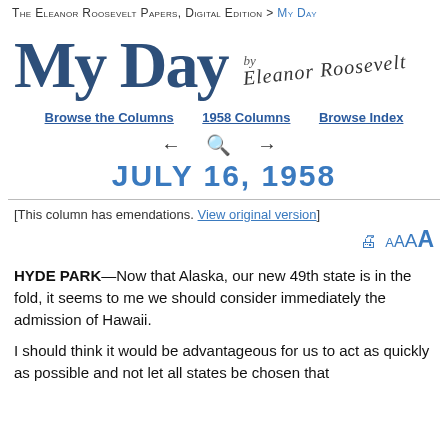The Eleanor Roosevelt Papers, Digital Edition > My Day
My Day by Eleanor Roosevelt
Browse the Columns   1958 Columns   Browse Index
← 🔍 →  JULY 16, 1958
[This column has emendations. View original version]
HYDE PARK—Now that Alaska, our new 49th state is in the fold, it seems to me we should consider immediately the admission of Hawaii.
I should think it would be advantageous for us to act as quickly as possible and not let all states be chosen that